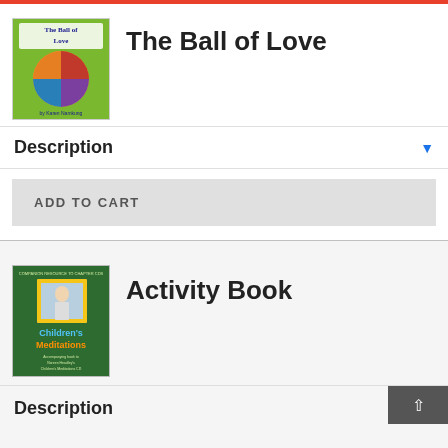[Figure (illustration): Book cover for 'The Ball of Love' — green background with a colorful ball (red and purple halves) resembling a sun, with text 'The Ball of Love' at top and author name at bottom]
The Ball of Love
Description
ADD TO CART
[Figure (illustration): Book cover for 'Children's Meditations' — dark green background with a yellow-framed photo of a child, colorful title text 'Children's Meditations' and smaller text below]
Activity Book
Description